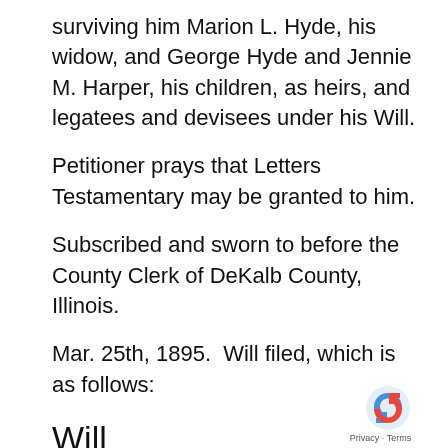surviving him Marion L. Hyde, his widow, and George Hyde and Jennie M. Harper, his children, as heirs, and legatees and devisees under his Will.
Petitioner prays that Letters Testamentary may be granted to him.
Subscribed and sworn to before the County Clerk of DeKalb County, Illinois.
Mar. 25th, 1895.  Will filed, which is as follows:
Will
I, Simeon E. Hyde, of the Town of Paw Paw, County of DeKalb and State of Illinois, being of sound mind and memory, do hereby make, p and declare this my last Will and Testament,